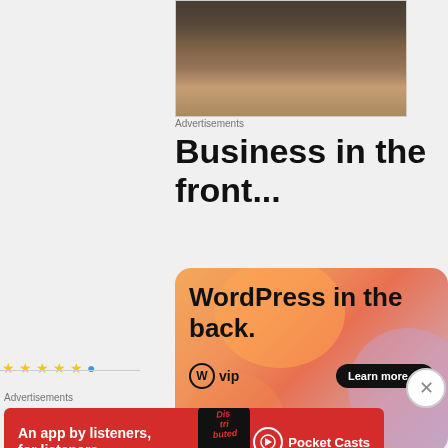[Figure (photo): Partial top view of a person with brown highlighted hair, cropped showing only the top of the head]
Advertisements
Business in the front...
[Figure (illustration): WordPress VIP advertisement banner with gradient orange/pink/purple background. Text reads 'WordPress in the back.' with WordPress VIP logo and 'Learn more' button]
Advertisements
[Figure (illustration): Pocket Casts advertisement banner on red background. Text reads 'An app by listeners, for listeners.' with Pocket Casts logo and phone mockup showing 'Dis tri buted' text]